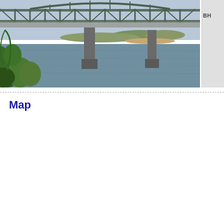[Figure (photo): Photograph of a steel truss bridge spanning a wide river, with concrete piers, green vegetation in the foreground, sandy riverbank visible in the background, overcast sky.]
Map